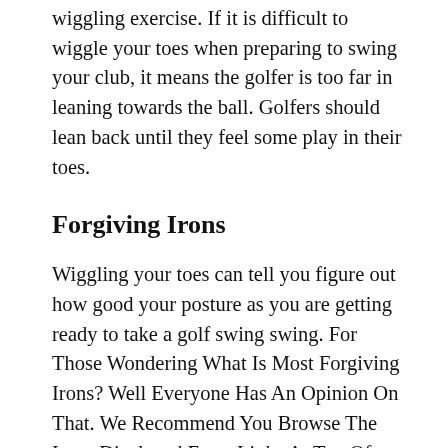wiggling exercise. If it is difficult to wiggle your toes when preparing to swing your club, it means the golfer is too far in leaning towards the ball. Golfers should lean back until they feel some play in their toes.
Forgiving Irons
Wiggling your toes can tell you figure out how good your posture as you are getting ready to take a golf swing swing. For Those Wondering What Is Most Forgiving Irons? Well Everyone Has An Opinion On That. We Recommend You Browse The Irons Displayed From Links At Top Of This Blog, And We’re Sure You’ll Find The Most Forgiving Irons For You If...